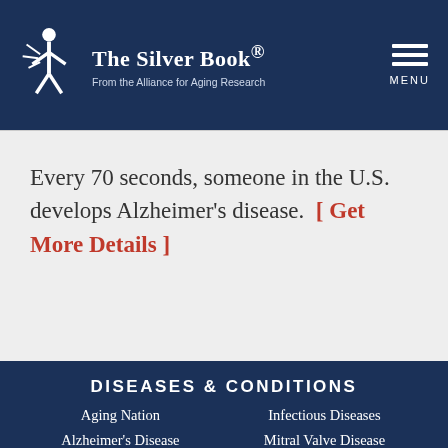[Figure (logo): The Silver Book logo with human figure icon and text 'The Silver Book® From the Alliance for Aging Research' on dark blue background]
Every 70 seconds, someone in the U.S. develops Alzheimer's disease.  [ Get More Details ]
DISEASES & CONDITIONS
Aging Nation
Alzheimer's Disease
Aortic Stenosis
Infectious Diseases
Mitral Valve Disease
Neurological Disease